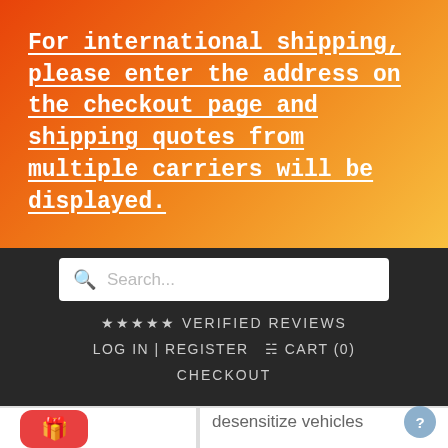For international shipping, please enter the address on the checkout page and shipping quotes from multiple carriers will be displayed.
[Figure (screenshot): Search bar with placeholder text 'Search...']
★★★★★ VERIFIED REVIEWS
LOG IN | REGISTER  🛒 CART (0)
CHECKOUT
desensitize vehicles with abrupt throttle response from the factory, as seen on some vehicles such as the Toyota Tundra Truck.